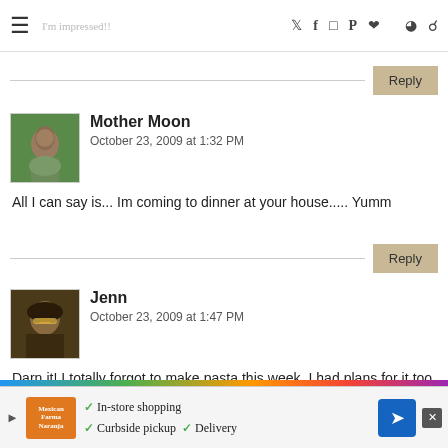Navigation bar with hamburger menu and social icons (Twitter, Facebook, Instagram, Pinterest, Heart, RSS, Search)
Reply
Mother Moon
October 23, 2009 at 1:32 PM

All I can say is... Im coming to dinner at your house..... Yumm
Reply
Jenn
October 23, 2009 at 1:47 PM

Darn it! I totally forgot to make pasta this week. I had plans for it too. Nice round up. Now I hav...